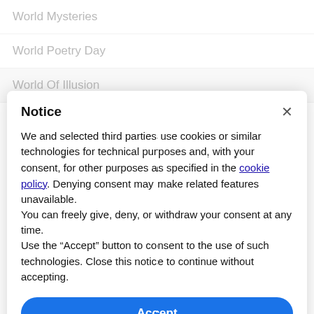World Mysteries
World Poetry Day
World Of Illusion
Notice
We and selected third parties use cookies or similar technologies for technical purposes and, with your consent, for other purposes as specified in the cookie policy. Denying consent may make related features unavailable.
You can freely give, deny, or withdraw your consent at any time.
Use the “Accept” button to consent to the use of such technologies. Close this notice to continue without accepting.
Accept
Learn more and customise